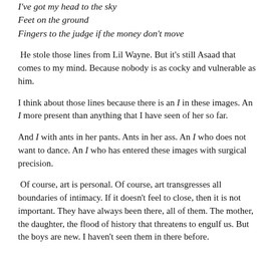I've got my head to the sky
Feet on the ground
Fingers to the judge if the money don't move
He stole those lines from Lil Wayne. But it's still Asaad that comes to my mind. Because nobody is as cocky and vulnerable as him.
I think about those lines because there is an I in these images. An I more present than anything that I have seen of her so far.
And I with ants in her pants. Ants in her ass. An I who does not want to dance. An I who has entered these images with surgical precision.
Of course, art is personal. Of course, art transgresses all boundaries of intimacy. If it doesn't feel to close, then it is not important. They have always been there, all of them. The mother, the daughter, the flood of history that threatens to engulf us. But the boys are new. I haven't seen them in there before.